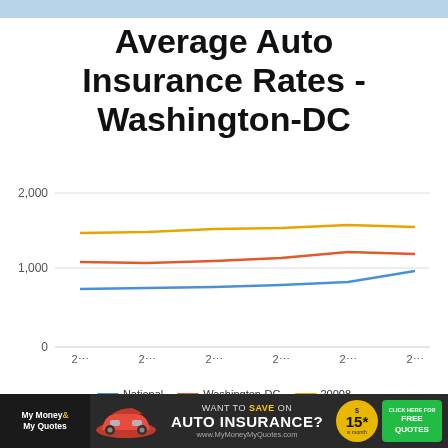Average Auto Insurance Rates - Washington-DC
[Figure (line-chart): Average Auto Insurance Rates - Washington-DC]
[Figure (infographic): MyMoneyMyQuotes advertisement banner: Want to save on auto insurance? $15 a month. Click here for free quotes. www.MyMoneyMyQuotes.com]